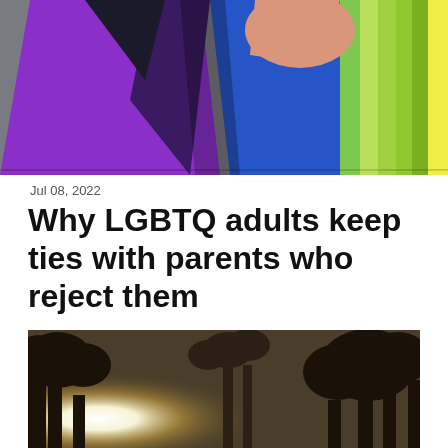[Figure (photo): Close-up of a folded rainbow pride flag on a gray surface, showing vibrant purple, blue, green, yellow, orange and skin-tone colored stripes]
Jul 08, 2022
Why LGBTQ adults keep ties with parents who reject them
[Figure (photo): Outdoor photo of bare trees silhouetted against a bright sun with light rays spreading through the branches]